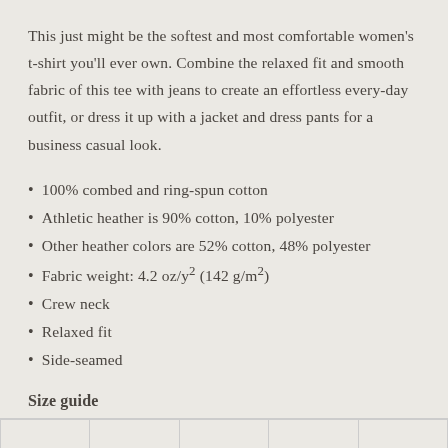This just might be the softest and most comfortable women's t-shirt you'll ever own. Combine the relaxed fit and smooth fabric of this tee with jeans to create an effortless every-day outfit, or dress it up with a jacket and dress pants for a business casual look.
100% combed and ring-spun cotton
Athletic heather is 90% cotton, 10% polyester
Other heather colors are 52% cotton, 48% polyester
Fabric weight: 4.2 oz/y² (142 g/m²)
Crew neck
Relaxed fit
Side-seamed
Size guide
|  |